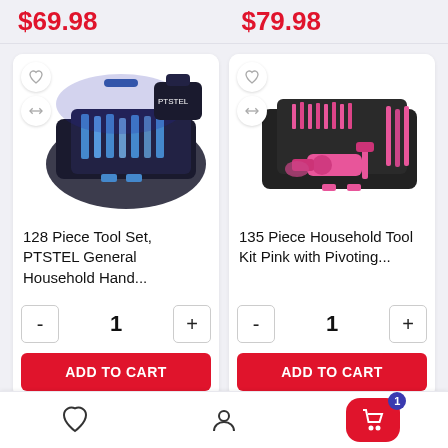$69.98
$79.98
[Figure (photo): 128 Piece Tool Set in open black carry case with blue tools and separate bag, PTSTEL brand]
128 Piece Tool Set, PTSTEL General Household Hand...
- 1 +
ADD TO CART
[Figure (photo): 135 Piece Household Tool Kit in pink and dark grey open case]
135 Piece Household Tool Kit Pink with Pivoting...
- 1 +
ADD TO CART